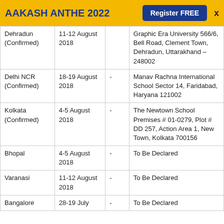AAKASH ANTHE 2022  Register FREE  X
| City | Date |  | Venue |
| --- | --- | --- | --- |
| Dehradun (Confirmed) | 11-12 August 2018 |  | Graphic Era University 566/6, Bell Road, Clement Town, Dehradun, Uttarakhand – 248002 |
| Delhi NCR (Confirmed) | 18-19 August 2018 | - | Manav Rachna International School Sector 14, Faridabad, Haryana 121002 |
| Kolkata (Confirmed) | 4-5 August 2018 | - | The Newtown School Premises # 01-0279, Plot # DD 257, Action Area 1, New Town, Kolkata 700156 |
| Bhopal | 4-5 August 2018 | - | To Be Declared |
| Varanasi | 11-12 August 2018 | - | To Be Declared |
| Bangalore | 28-19 July | - | To Be Declared |